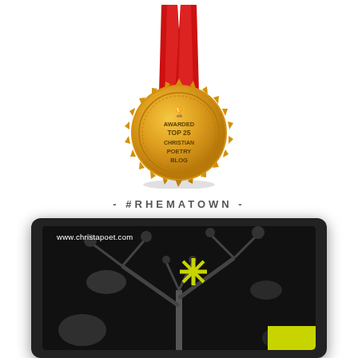[Figure (illustration): Gold award medal with red ribbon reading 'AWARDED TOP 25 CHRISTIAN POETRY BLOG' with a trophy icon at the top center]
- #RHEMATOWN -
[Figure (photo): Laptop displaying website www.christapoet.com with a dark, black-and-white nature/tree background image, a yellow star/asterisk logo in the center, and a yellow-green bar at the bottom right corner]